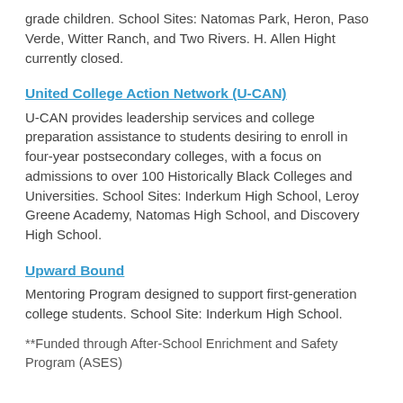grade children. School Sites: Natomas Park, Heron, Paso Verde, Witter Ranch, and Two Rivers. H. Allen Hight currently closed.
United College Action Network (U-CAN)
U-CAN provides leadership services and college preparation assistance to students desiring to enroll in four-year postsecondary colleges, with a focus on admissions to over 100 Historically Black Colleges and Universities. School Sites: Inderkum High School, Leroy Greene Academy, Natomas High School, and Discovery High School.
Upward Bound
Mentoring Program designed to support first-generation college students. School Site: Inderkum High School.
**Funded through After-School Enrichment and Safety Program (ASES)